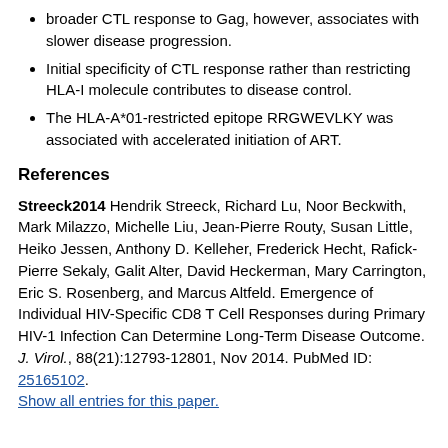broader CTL response to Gag, however, associates with slower disease progression.
Initial specificity of CTL response rather than restricting HLA-I molecule contributes to disease control.
The HLA-A*01-restricted epitope RRGWEVLKY was associated with accelerated initiation of ART.
References
Streeck2014 Hendrik Streeck, Richard Lu, Noor Beckwith, Mark Milazzo, Michelle Liu, Jean-Pierre Routy, Susan Little, Heiko Jessen, Anthony D. Kelleher, Frederick Hecht, Rafick-Pierre Sekaly, Galit Alter, David Heckerman, Mary Carrington, Eric S. Rosenberg, and Marcus Altfeld. Emergence of Individual HIV-Specific CD8 T Cell Responses during Primary HIV-1 Infection Can Determine Long-Term Disease Outcome. J. Virol., 88(21):12793-12801, Nov 2014. PubMed ID: 25165102. Show all entries for this paper.